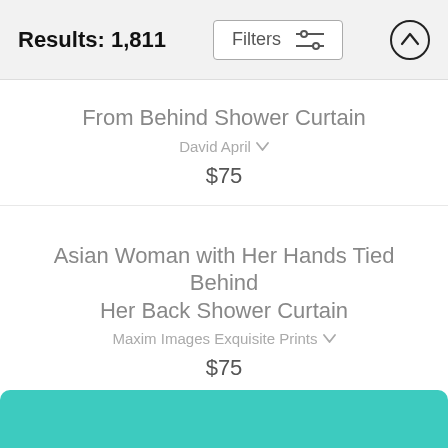Results: 1,811
From Behind Shower Curtain
David April
$75
Asian Woman with Her Hands Tied Behind Her Back Shower Curtain
Maxim Images Exquisite Prints
$75
[Figure (other): Teal/turquoise colored banner at bottom of page]